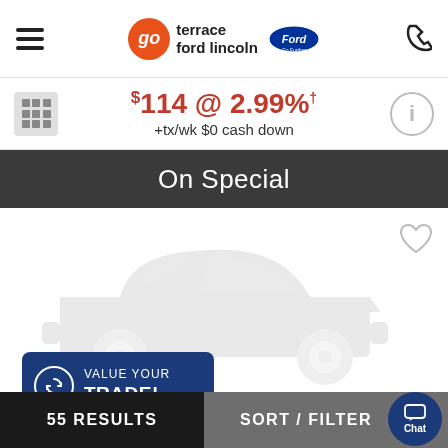go terrace ford lincoln [Ford logo]
$114 @ 2.99%† +tx/wk $0 cash down
On Special
[Figure (illustration): Placeholder car silhouette on a white card background with a heart/favourite icon in the top right and a 'VALUE YOUR TRADE!' button in the bottom left.]
55 RESULTS | SORT / FILTER | Chat